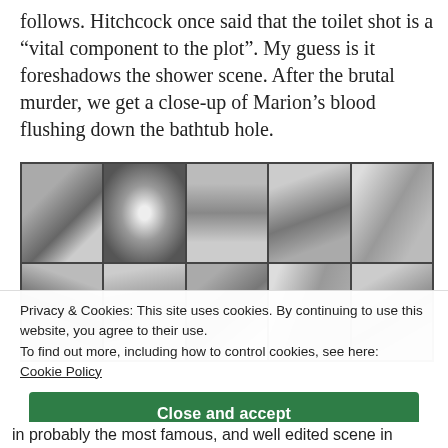follows. Hitchcock once said that the toilet shot is a “vital component to the plot”. My guess is it foreshadows the shower scene. After the brutal murder, we get a close-up of Marion’s blood flushing down the bathtub hole.
[Figure (photo): A 2x5 grid of black-and-white film stills from Psycho's shower scene, showing various shots of the attack sequence.]
Privacy & Cookies: This site uses cookies. By continuing to use this website, you agree to their use.
To find out more, including how to control cookies, see here:
Cookie Policy
Close and accept
in probably the most famous, and well edited scene in